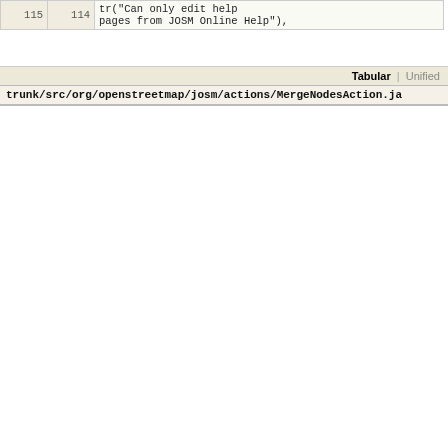[Figure (screenshot): Code diff view showing top snippet with line numbers 115/114 and code: tr("Can only edit help pages from JOSM Online Help"),]
Tabular | Unified
trunk/src/org/openstreetmap/josm/actions/MergeNodesAction.ja
| r1951 | r2017 | code |
| --- | --- | --- |
| 38 | 38 | import org.openstreetmap.josm.data.osm.visitor.CollectBack |
| 39 | 39 | import org.openstreetmap.josm.gui.ExtendedDialog; |
| 40 |  | import org.openstreetmap.josm.gui.OptionPaneUtil; |
| 41 | 40 | import org.openstreetmap.josm.tools.GBC; |
| 42 | 41 | import org.openstreetmap.josm.tools.Pair; |
| ... | ... |  |
| 74 | 73 |  |
| 75 | 74 |     if (selectedNodes.size() < 2) { |
| 76 |  |         OptionPaneUtil.showMessageDialog( |
|  | 75 |         JOptionPane.showMessageDialog( |
| 77 | 76 |             Main.parent, |
| 78 | 77 |             tr("Please select at least two nodes to merge."), |
| ... | ... |  |
| 250 | 249 |         w.visit(backRefs); |
| 251 | 250 |         if (!backRefs.data.isEmpty()) { |
| 252 |  |     OptionPaneUtil.showMessageDialog( |
|  | 251 | JOptionPane.showMessageDialog( |
| 253 | 252 |             Main.parent, |
| 254 | 253 |         tr("Cannot merge |